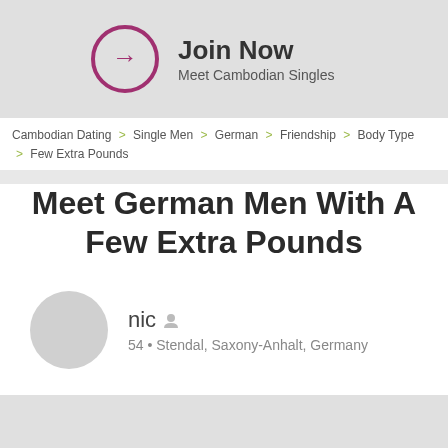[Figure (other): Join Now banner with circular arrow icon, text 'Join Now' and 'Meet Cambodian Singles']
Cambodian Dating > Single Men > German > Friendship > Body Type > Few Extra Pounds
Meet German Men With A Few Extra Pounds
nic • 54 • Stendal, Saxony-Anhalt, Germany